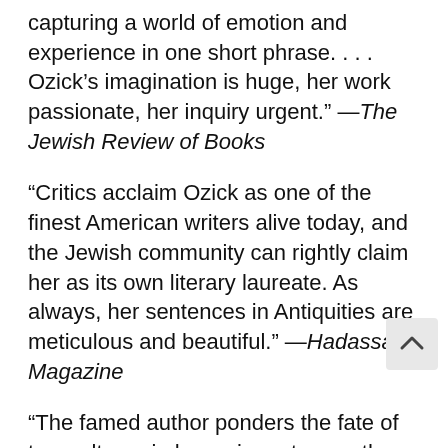capturing a world of emotion and experience in one short phrase. . . . Ozick’s imagination is huge, her work passionate, her inquiry urgent.” —The Jewish Review of Books
“Critics acclaim Ozick as one of the finest American writers alive today, and the Jewish community can rightly claim her as its own literary laureate. As always, her sentences in Antiquities are meticulous and beautiful.” —Hadassah Magazine
“The famed author ponders the fate of two cultures in her poignant seventh novel. . . . Extraordinary and moving.” —Washington Independent Review of Books
“Antiquities is classic Ozick, marvelous Ozick, Ozick at the height of her powers. She has of